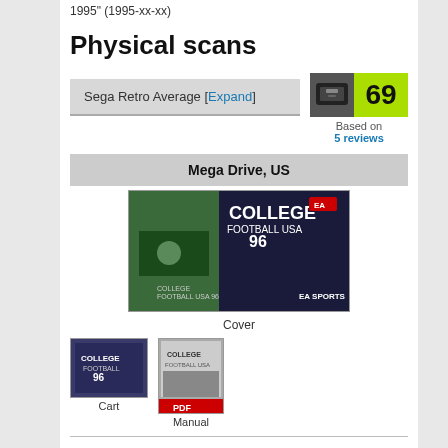1995" (1995-xx-xx)
Physical scans
Sega Retro Average [Expand]
[Figure (other): Score badge showing Sega console icon and score 69 in yellow-green, based on 5 reviews]
| Platform |
| --- |
| Mega Drive, US |
[Figure (photo): College Football USA 96 game cover for Mega Drive/Genesis, showing EA Sports branding]
Cover
[Figure (photo): College Football USA 96 cart thumbnail]
Cart
[Figure (photo): College Football USA 96 manual thumbnail with PDF icon]
Manual